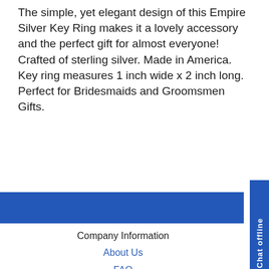The simple, yet elegant design of this Empire Silver Key Ring makes it a lovely accessory and the perfect gift for almost everyone! Crafted of sterling silver. Made in America. Key ring measures 1 inch wide x 2 inch long. Perfect for Bridesmaids and Groomsmen Gifts.
[Figure (other): Blue horizontal banner bar]
[Figure (other): Chat offline vertical tab on the right side, blue background with white rotated text]
Company Information
About Us
FAQ
Accessibility Statement
Sterling Guide
Return Policy